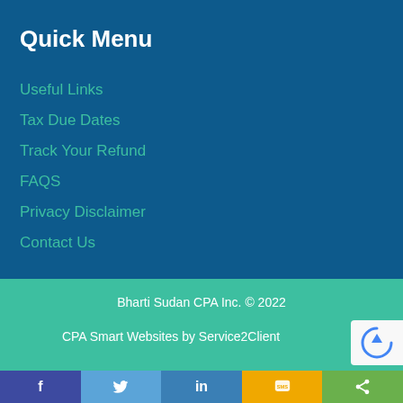Quick Menu
Useful Links
Tax Due Dates
Track Your Refund
FAQS
Privacy Disclaimer
Contact Us
Bharti Sudan CPA Inc. © 2022
CPA Smart Websites by Service2Client